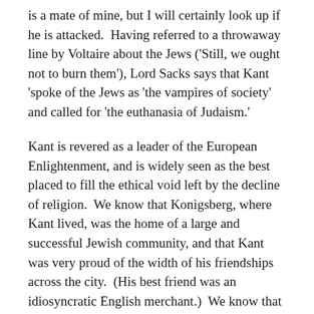is a mate of mine, but I will certainly look up if he is attacked.  Having referred to a throwaway line by Voltaire about the Jews ('Still, we ought not to burn them'), Lord Sacks says that Kant 'spoke of the Jews as 'the vampires of society' and called for 'the euthanasia of Judaism.'
Kant is revered as a leader of the European Enlightenment, and is widely seen as the best placed to fill the ethical void left by the decline of religion.  We know that Konigsberg, where Kant lived, was the home of a large and successful Jewish community, and that Kant was very proud of the width of his friendships across the city.  (His best friend was an idiosyncratic English merchant.)  We know that Kant had almost a life-long and amicable correspondence with Moses Mendelssohn, a prominent Jewish philosopher and